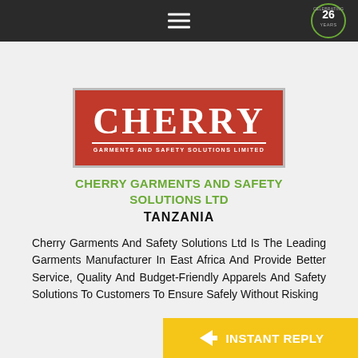Navigation bar with hamburger menu and Celebrating 26 Years badge
[Figure (logo): Cherry Garments and Safety Solutions Limited logo — red rectangle with white serif CHERRY text and white subtitle]
CHERRY GARMENTS AND SAFETY SOLUTIONS LTD
TANZANIA
Cherry Garments And Safety Solutions Ltd Is The Leading Garments Manufacturer In East Africa And Provide Better Service, Quality And Budget-Friendly Apparels And Safety Solutions To Customers To Ensure Safely Without Risking